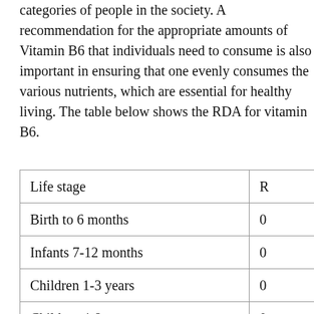categories of people in the society. A recommendation for the appropriate amounts of Vitamin B6 that individuals need to consume is also important in ensuring that one evenly consumes the various nutrients, which are essential for healthy living. The table below shows the RDA for vitamin B6.
| Life stage | R… |
| --- | --- |
| Birth to 6 months | 0… |
| Infants 7-12 months | 0… |
| Children 1-3 years | 0… |
| Children 4-8 years | 0… |
| Children 9-13 years | 1… |